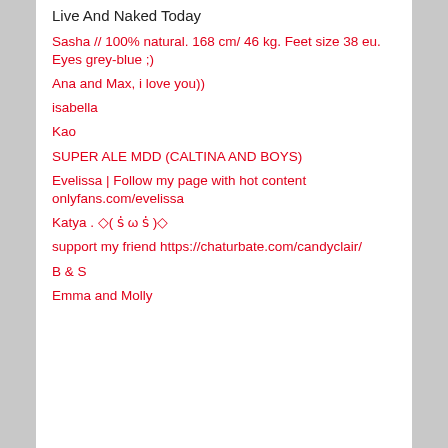Live And Naked Today
Sasha // 100% natural. 168 cm/ 46 kg. Feet size 38 eu. Eyes grey-blue ;)
Ana and Max, i love you))
isabella
Kao
SUPER ALE MDD (CALTINA AND BOYS)
Evelissa | Follow my page with hot content onlyfans.com/evelissa
Katya . ◇( ṡ ω ṡ )◇
support my friend https://chaturbate.com/candyclair/
B & S
Emma and Molly